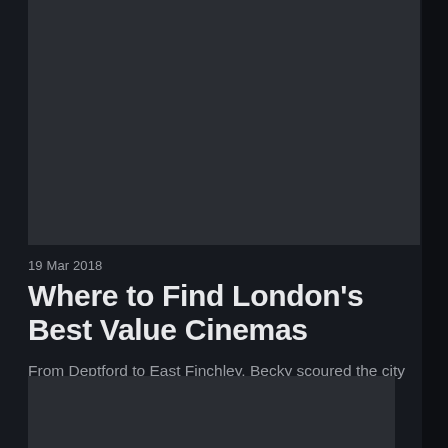[Figure (photo): Dark placeholder image at top of article card]
19 Mar 2018
Where to Find London’s Best Value Cinemas
From Deptford to East Finchley, Becky scoured the city for all the best bargains around.
[Figure (photo): Dark placeholder image at bottom, partially visible]